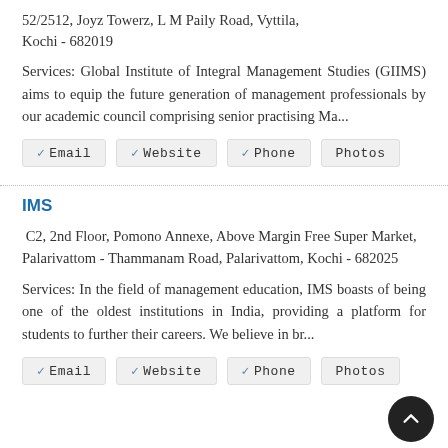52/2512, Joyz Towerz, L M Paily Road, Vyttila, Kochi - 682019
Services: Global Institute of Integral Management Studies (GIIMS) aims to equip the future generation of management professionals by our academic council comprising senior practising Ma...
✓ Email  ✓ Website  ✓ Phone  Photos
IMS
C2, 2nd Floor, Pomono Annexe, Above Margin Free Super Market, Palarivattom - Thammanam Road, Palarivattom, Kochi - 682025
Services: In the field of management education, IMS boasts of being one of the oldest institutions in India, providing a platform for students to further their careers. We believe in br...
✓ Email  ✓ Website  ✓ Phone  Photos